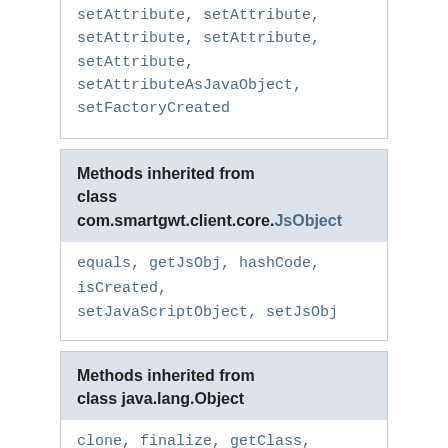setAttribute, setAttribute, setAttribute, setAttribute, setAttributeAsJavaObject, setFactoryCreated
Methods inherited from class com.smartgwt.client.core.JsObject
equals, getJsObj, hashCode, isCreated, setJavaScriptObject, setJsObj
Methods inherited from class java.lang.Object
clone, finalize, getClass, notify, notifyAll, toString, wait, wait, wait
Methods inherited from interface com.google.gwt.event.shared...